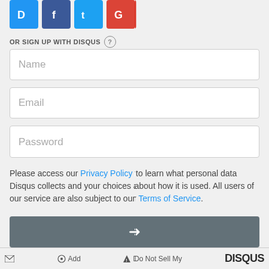[Figure (logo): Social login icons: Disqus (blue), Facebook (dark blue), Twitter (light blue), Google (red)]
OR SIGN UP WITH DISQUS ?
Name
Email
Password
Please access our Privacy Policy to learn what personal data Disqus collects and your choices about how it is used. All users of our service are also subject to our Terms of Service.
[Figure (other): Arrow submit button (dark gray background with white right arrow)]
Be the first to comment.
envelope icon | Add | Do Not Sell My | DISQUS